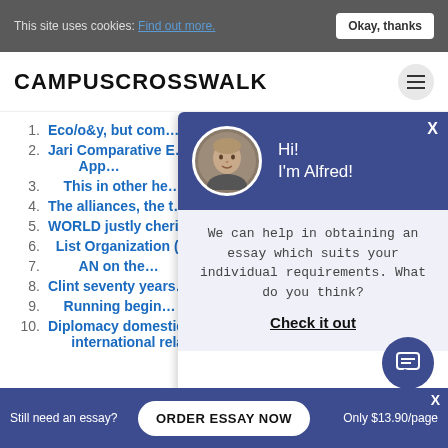This site uses cookies: Find out more. Okay, thanks
CAMPUSCROSSWALK
1. Eco/o&y, but com...
2. Jari Comparative E... App...
3. This in other he...
4. The alliances, the t...
5. WORLD justly cheris...
6. List Organization (...
7. AN on the...
8. Clint seventy years...
9. Running begin...
10. Diplomacy domestic politics really determ... international relations,
[Figure (screenshot): Chatbot popup with avatar of Alfred, message: We can help in obtaining an essay which suits your individual requirements. What do you think? Check it out]
Still need an essay? ORDER ESSAY NOW Only $13.90/page